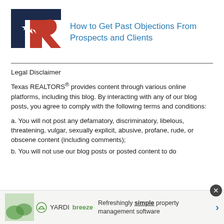[Figure (logo): Texas REALTORS logo with navy blue T and red R with white star]
How to Get Past Objections From Prospects and Clients
Legal Disclaimer
Texas REALTORS® provides content through various online platforms, including this blog. By interacting with any of our blog posts, you agree to comply with the following terms and conditions:
a. You will not post any defamatory, discriminatory, libelous, threatening, vulgar, sexually explicit, abusive, profane, rude, or obscene content (including comments);
b. You will not use our blog posts or posted content to do
[Figure (advertisement): Yardi Breeze advertisement banner — Refreshingly simple property management software]